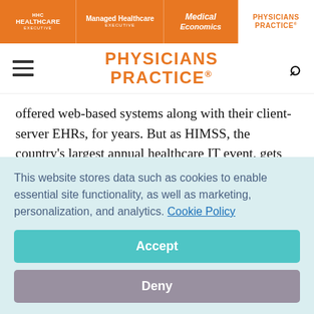HHC HEALTHCARE EXECUTIVE | Managed Healthcare EXECUTIVE | Medical Economics | PHYSICIANS PRACTICE
[Figure (logo): Physicians Practice logo in orange text in sub-header navigation bar]
offered web-based systems along with their client-server EHRs, for years. But as HIMSS, the country's largest annual healthcare IT event, gets underway Feb. 21, an emerging theme among EHR vendors is catering to the burgeoning market of smaller and mid-sized practices, who are looking to cash in on government incentives, and more likely to opt for web-based systems.
This website stores data such as cookies to enable essential site functionality, as well as marketing, personalization, and analytics. Cookie Policy
Accept
Deny